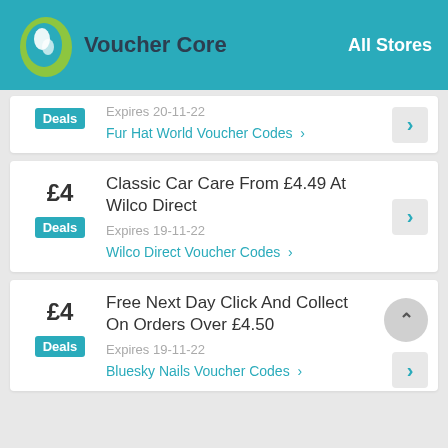Voucher Core | All Stores
Expires 20-11-22
Deals
Fur Hat World Voucher Codes >
Classic Car Care From £4.49 At Wilco Direct
Expires 19-11-22
Deals
Wilco Direct Voucher Codes >
Free Next Day Click And Collect On Orders Over £4.50
Expires 19-11-22
Deals
Bluesky Nails Voucher Codes >